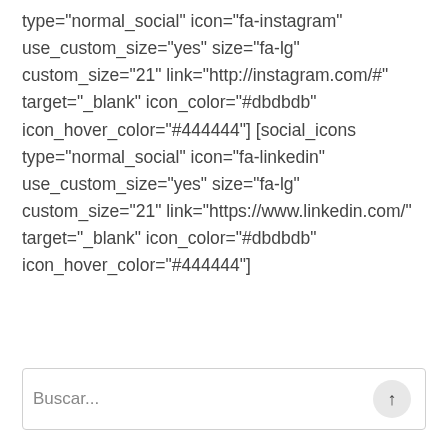type="normal_social" icon="fa-instagram" use_custom_size="yes" size="fa-lg" custom_size="21" link="http://instagram.com/#" target="_blank" icon_color="#dbdbdb" icon_hover_color="#444444"] [social_icons type="normal_social" icon="fa-linkedin" use_custom_size="yes" size="fa-lg" custom_size="21" link="https://www.linkedin.com/" target="_blank" icon_color="#dbdbdb" icon_hover_color="#444444"]
Buscar...